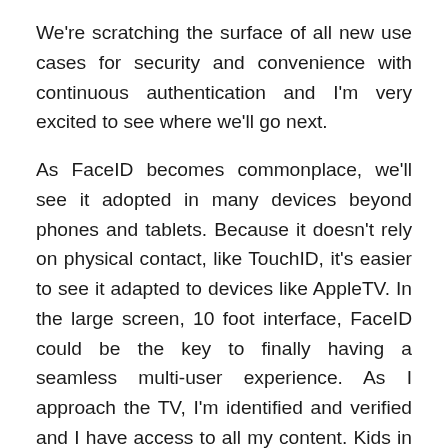We're scratching the surface of all new use cases for security and convenience with continuous authentication and I'm very excited to see where we'll go next.
As FaceID becomes commonplace, we'll see it adopted in many devices beyond phones and tablets. Because it doesn't rely on physical contact, like TouchID, it's easier to see it adapted to devices like AppleTV. In the large screen, 10 foot interface, FaceID could be the key to finally having a seamless multi-user experience. As I approach the TV, I'm identified and verified and I have access to all my content. Kids in the house might be identified in the same way and presented with only their